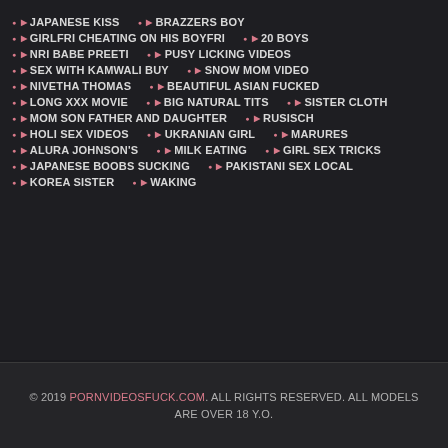JAPANESE KISS | BRAZZERS BOY
GIRLFRI CHEATING ON HIS BOYFRI | 20 BOYS
NRI BABE PREETI | PUSY LICKING VIDEOS
SEX WITH KAMWALI BUY | SNOW MOM VIDEO
NIVETHA THOMAS | BEAUTIFUL ASIAN FUCKED
LONG XXX MOVIE | BIG NATURAL TITS | SISTER CLOTH
MOM SON FATHER AND DAUGHTER | RUSISCH
HOLI SEX VIDEOS | UKRANIAN GIRL | MARURES
ALURA JOHNSON'S | MILK EATING | GIRL SEX TRICKS
JAPANESE BOOBS SUCKING | PAKISTANI SEX LOCAL
KOREA SISTER | WAKING
© 2019 PORNVIDEOSFUCK.COM. ALL RIGHTS RESERVED. ALL MODELS ARE OVER 18 Y.O.